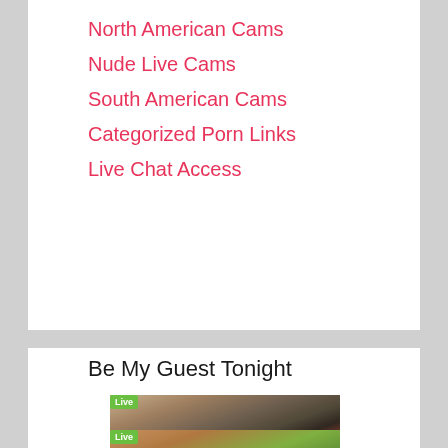North American Cams
Nude Live Cams
South American Cams
Categorized Porn Links
Live Chat Access
Be My Guest Tonight
[Figure (photo): Live webcam stream thumbnail showing couple on bed, username 'happycouple95' displayed at bottom, green 'Live' badge in top-left corner]
[Figure (photo): Live webcam stream thumbnail showing woman with long brown hair outdoors, green 'Live' badge in top-left corner (partially visible)]